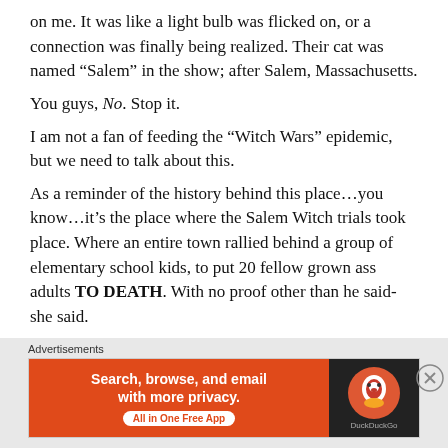on me. It was like a light bulb was flicked on, or a connection was finally being realized. Their cat was named “Salem” in the show; after Salem, Massachusetts.
You guys, No. Stop it.
I am not a fan of feeding the “Witch Wars” epidemic, but we need to talk about this.
As a reminder of the history behind this place…you know…it’s the place where the Salem Witch trials took place. Where an entire town rallied behind a group of elementary school kids, to put 20 fellow grown ass adults TO DEATH. With no proof other than he said-she said.
[partial line cut off]
Advertisements
[Figure (other): DuckDuckGo advertisement banner: orange left panel with text 'Search, browse, and email with more privacy. All in One Free App', dark right panel with DuckDuckGo logo]